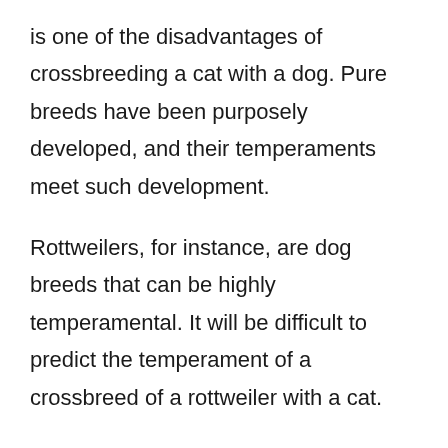is one of the disadvantages of crossbreeding a cat with a dog. Pure breeds have been purposely developed, and their temperaments meet such development.
Rottweilers, for instance, are dog breeds that can be highly temperamental. It will be difficult to predict the temperament of a crossbreed of a rottweiler with a cat.
Another issue that can make cat and dog crossbreeding almost impossible is the difficulty in predicting the adult size.